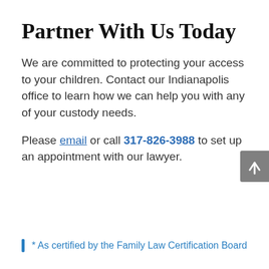Partner With Us Today
We are committed to protecting your access to your children. Contact our Indianapolis office to learn how we can help you with any of your custody needs.
Please email or call 317-826-3988 to set up an appointment with our lawyer.
* As certified by the Family Law Certification Board